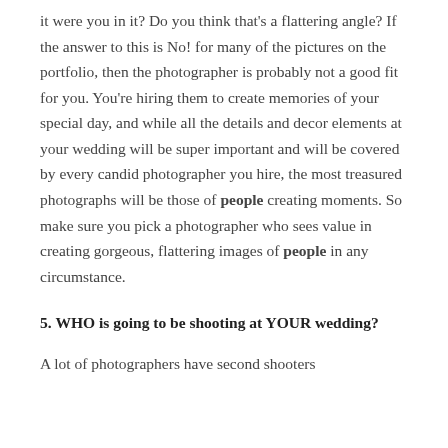it were you in it? Do you think that's a flattering angle? If the answer to this is No! for many of the pictures on the portfolio, then the photographer is probably not a good fit for you. You're hiring them to create memories of your special day, and while all the details and decor elements at your wedding will be super important and will be covered by every candid photographer you hire, the most treasured photographs will be those of people creating moments. So make sure you pick a photographer who sees value in creating gorgeous, flattering images of people in any circumstance.
5. WHO is going to be shooting at YOUR wedding?
A lot of photographers have second shooters